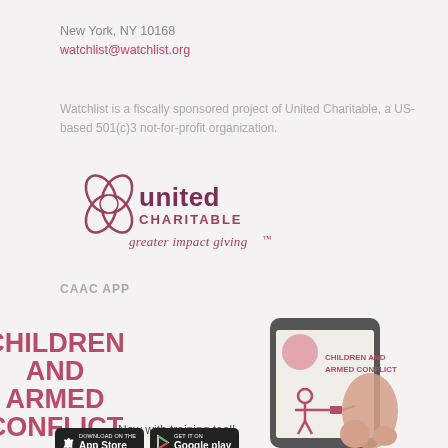New York, NY 10168
watchlist@watchlist.org
Watchlist is a fiscally sponsored project of United Charitable, a US-based 501(c)3 not-for-profit organization.
[Figure (logo): United Charitable logo with stylized flower/knot icon and tagline 'greater impact giving']
CAAC APP
[Figure (illustration): CAAC App promotional image: bold pink/magenta text 'CHILDREN AND ARMED CONFLICT' on left, hand holding smartphone displaying the CAAC app with child soldier icon, 'Now with training tool!' text, App Store and Google Play badges at bottom]